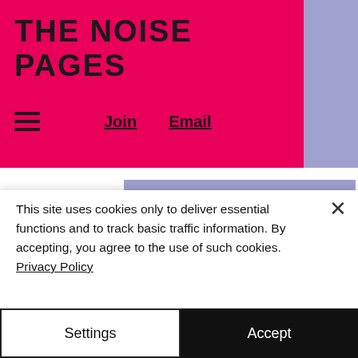THE NOISE PAGES
Join  Email
6 days ago
Operation Beech noise patrol continues to be well used
For the second year in a row, Operation Beech, the police anti-noise patrol funded by University of Bristol, attended almost 300...
This site uses cookies only to deliver essential functions and to track basic traffic information. By accepting, you agree to the use of such cookies. Privacy Policy
Settings
Accept